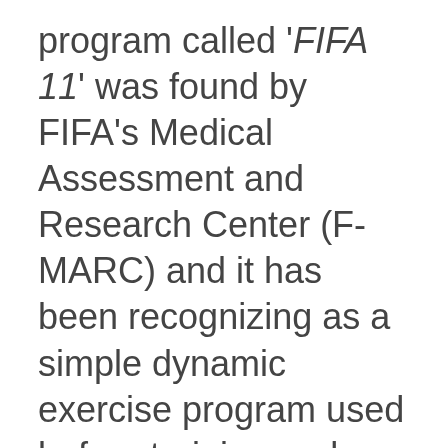program called 'FIFA 11' was found by FIFA's Medical Assessment and Research Center (F-MARC) and it has been recognizing as a simple dynamic exercise program used before training and games for 15–20 minutes performed 2–3 times per week throughout the whole